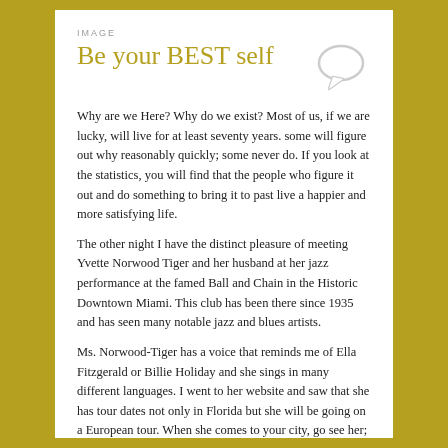IMAGE
Be your BEST self
[Figure (illustration): Speech bubble icon, light grey outline]
Why are we Here? Why do we exist? Most of us, if we are lucky, will live for at least seventy years. some will figure out why reasonably quickly; some never do. If you look at the statistics, you will find that the people who figure it out and do something to bring it to past live a happier and more satisfying life.
The other night I have the distinct pleasure of meeting Yvette Norwood Tiger and her husband at her jazz performance at the famed Ball and Chain in the Historic Downtown Miami. This club has been there since 1935 and has seen many notable jazz and blues artists.
Ms. Norwood-Tiger has a voice that reminds me of Ella Fitzgerald or Billie Holiday and she sings in many different languages. I went to her website and saw that she has tour dates not only in Florida but she will be going on a European tour. When she comes to your city, go see her;